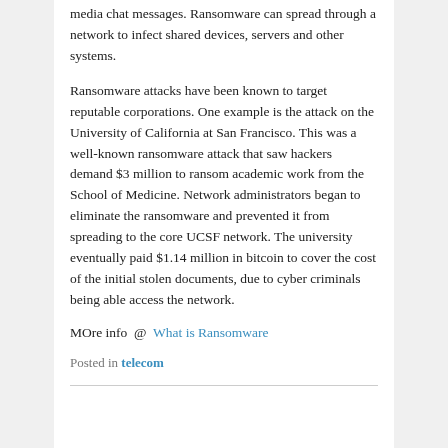media chat messages. Ransomware can spread through a network to infect shared devices, servers and other systems.
Ransomware attacks have been known to target reputable corporations. One example is the attack on the University of California at San Francisco. This was a well-known ransomware attack that saw hackers demand $3 million to ransom academic work from the School of Medicine. Network administrators began to eliminate the ransomware and prevented it from spreading to the core UCSF network. The university eventually paid $1.14 million in bitcoin to cover the cost of the initial stolen documents, due to cyber criminals being able access the network.
MOre info @  What is Ransomware
Posted in telecom